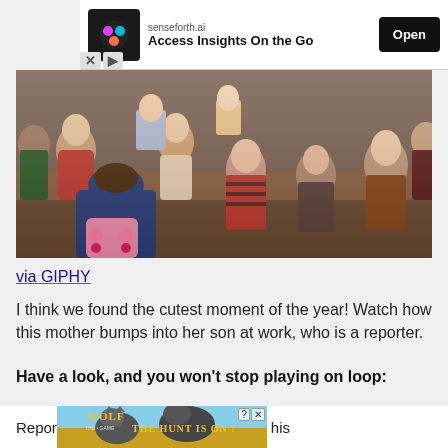[Figure (screenshot): Advertisement banner: senseforth.ai - Access Insights On the Go, with Open button]
[Figure (photo): Photo of a group of girls/young women sitting on bleachers or steps, watching something, from a TV show or movie scene]
via GIPHY
I think we found the cutest moment of the year! Watch how this mother bumps into her son at work, who is a reporter.
Have a look, and you won't stop playing on loop:
[Figure (screenshot): Bottom advertisement for 'Wolf - The Hunt Is On!' showing wolves in a field, partially covering text that reads 'Repor... his']